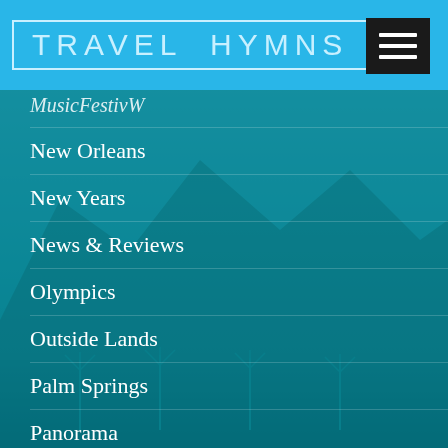TRAVEL HYMNS
MusicFestivW
New Orleans
New Years
News & Reviews
Olympics
Outside Lands
Palm Springs
Panorama
Paris Fashion Week
Payment Information Systems
Phoenix
Phoenix Lights
Politics